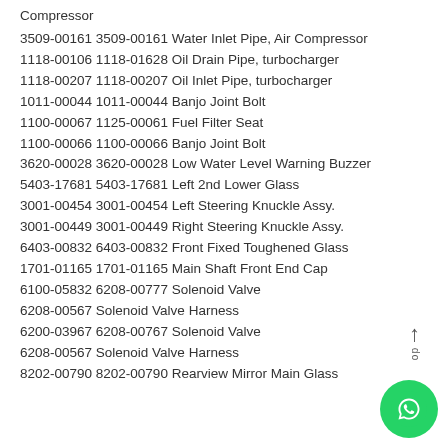Compressor
3509-00161 3509-00161 Water Inlet Pipe, Air Compressor
1118-00106 1118-01628 Oil Drain Pipe, turbocharger
1118-00207 1118-00207 Oil Inlet Pipe, turbocharger
1011-00044 1011-00044 Banjo Joint Bolt
1100-00067 1125-00061 Fuel Filter Seat
1100-00066 1100-00066 Banjo Joint Bolt
3620-00028 3620-00028 Low Water Level Warning Buzzer
5403-17681 5403-17681 Left 2nd Lower Glass
3001-00454 3001-00454 Left Steering Knuckle Assy.
3001-00449 3001-00449 Right Steering Knuckle Assy.
6403-00832 6403-00832 Front Fixed Toughened Glass
1701-01165 1701-01165 Main Shaft Front End Cap
6100-05832 6208-00777 Solenoid Valve
6208-00567 Solenoid Valve Harness
6200-03967 6208-00767 Solenoid Valve
6208-00567 Solenoid Valve Harness
8202-00790 8202-00790 Rearview Mirror Main Glass